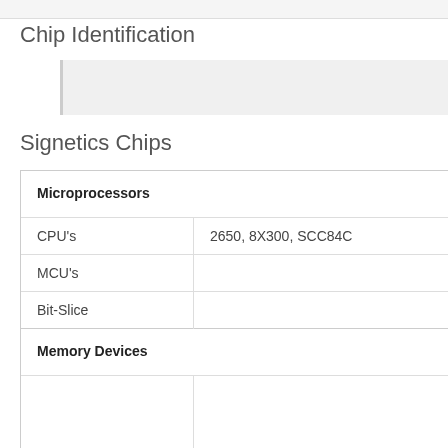Chip Identification
[Figure (other): Gray placeholder image area with left border accent]
Signetics Chips
| Category | Details |
| --- | --- |
| Microprocessors |  |
| CPU's | 2650, 8X300, SCC84C |
| MCU's |  |
| Bit-Slice |  |
| Memory Devices |  |
| RAM |  |
| ROM |  |